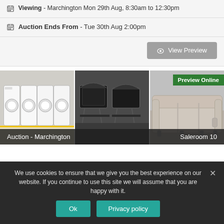Viewing - Marchington Mon 29th Aug, 8:30am to 12:30pm
Auction Ends From - Tue 30th Aug 2:00pm
View Preview
[Figure (photo): Three-panel auction preview image showing white washing machines on left, black BBQ grills in center, and a light-colored leather recliner sofa on right. A green 'Preview Online' badge overlays the top-right corner. Footer bar reads 'Auction - Marchington' on left and 'Saleroom 10' on right.]
We use cookies to ensure that we give you the best experience on our website. If you continue to use this site we will assume that you are happy with it.
Ok
Privacy policy